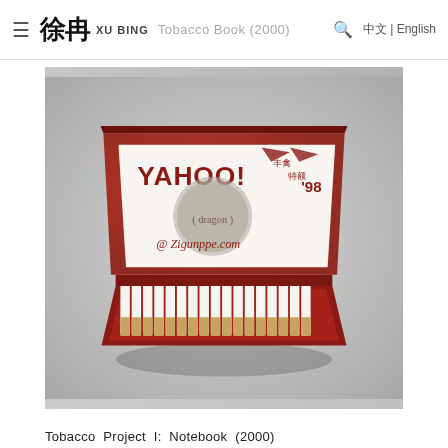≡ 徐冰 XU BING | Tobacco Book (2000) | 🔍 中文 | English
[Figure (photo): Photograph of an open red cigarette case styled as a notebook (laptop shape), containing cigarettes arranged in a row with filter tips visible. The lid interior shows a white label with 'YAHOO!' text, Chinese characters, '98', a red circular dragon/medallion design, and a script URL reading 'Ziguanppe.com'. The case and cigarettes are displayed on a light gray gradient background.]
Tobacco Project I: Notebook (2000)